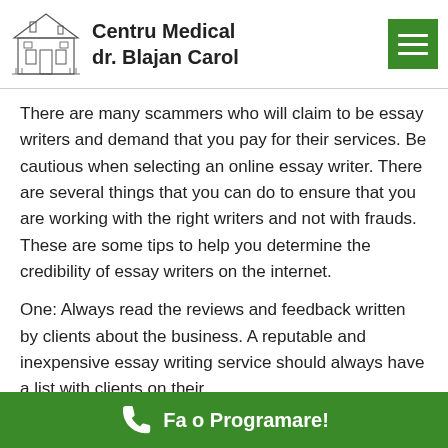Centru Medical dr. Blajan Carol
There are many scammers who will claim to be essay writers and demand that you pay for their services. Be cautious when selecting an online essay writer. There are several things that you can do to ensure that you are working with the right writers and not with frauds. These are some tips to help you determine the credibility of essay writers on the internet.
One: Always read the reviews and feedback written by clients about the business. A reputable and inexpensive essay writing service should always have a list with clients on their http://www.conferendo.com/en/blog/runkelw17/423985.html site. They will also be willing to give you the contact details of
Fa o Programare!